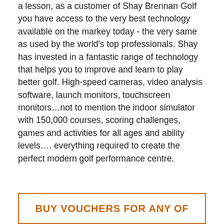a lesson, as a customer of Shay Brennan Golf you have access to the very best technology available on the markey today - the very same as used by the world's top professionals. Shay has invested in a fantastic range of technology that helps you to improve and learn to play better golf. High-speed cameras, video analysis software, launch monitors, touchscreen monitors...not to mention the indoor simulator with 150,000 courses, scoring challenges, games and activities for all ages and ability levels.... everything required to create the perfect modern golf performance centre.
BUY VOUCHERS FOR ANY OF